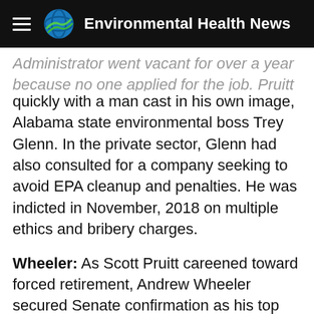Environmental Health News
Administrator went vacant for over a year because no one applied for the job. Pruitt filled the slot quickly with a man cast in his own image, Alabama state environmental boss Trey Glenn. In the private sector, Glenn had also consulted for a company seeking to avoid EPA cleanup and penalties. He was indicted in November, 2018 on multiple ethics and bribery charges.
Wheeler: As Scott Pruitt careened toward forced retirement, Andrew Wheeler secured Senate confirmation as his top deputy. While Pruitt waited till his post-EPA days to work for Big Coal, Wheeler's coal service helped him to his EPA post. He was promoted to Acting Administrator in April